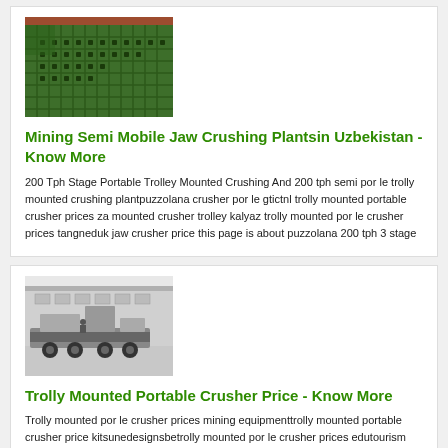[Figure (photo): Green perforated metal grating or screen surface, industrial mining equipment]
Mining Semi Mobile Jaw Crushing Plantsin Uzbekistan - Know More
200 Tph Stage Portable Trolley Mounted Crushing And 200 tph semi por le trolly mounted crushing plantpuzzolana crusher por le gtictnl trolly mounted portable crusher prices za mounted crusher trolley kalyaz trolly mounted por le crusher prices tangneduk jaw crusher price this page is about puzzolana 200 tph 3 stage
[Figure (photo): Trolly mounted portable crusher on trailer, industrial machinery at a facility]
Trolly Mounted Portable Crusher Price - Know More
Trolly mounted por le crusher prices mining equipmenttrolly mounted portable crusher price kitsunedesignsbetrolly mounted por le crusher prices edutourism